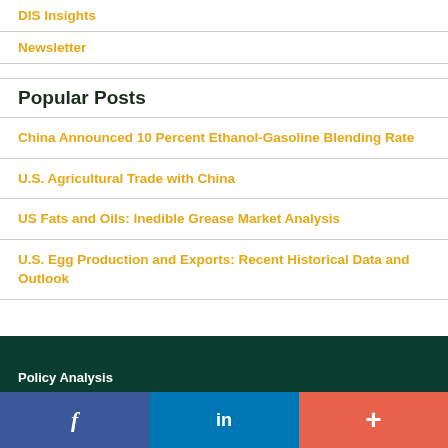DIS Insights
Newsletter
Popular Posts
China Announced 10 Percent Ethanol-Gasoline Blending Rate
U.S. Agricultural Trade with China
US Fats and Oils: Inedible Grease Market Analysis
U.S. Egg Production and Exports: Recent Historical Data and Outlook
Policy Analysis